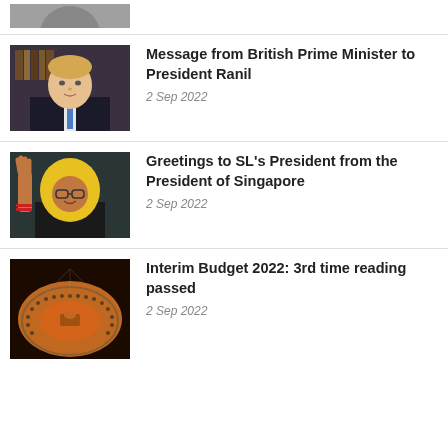[Figure (photo): Partial photo visible at top of page, cropped]
[Figure (photo): Photo of British Prime Minister Boris Johnson in a suit with blue tie, against a bookshelf background]
Message from British Prime Minister to President Ranil
2 Sep 2022
[Figure (photo): Photo of a woman in a yellow hijab waving her hand, with a dark background]
Greetings to SL's President from the President of Singapore
2 Sep 2022
[Figure (photo): Aerial photo of a parliament chamber with rows of seats arranged in a circular pattern]
Interim Budget 2022: 3rd time reading passed
2 Sep 2022